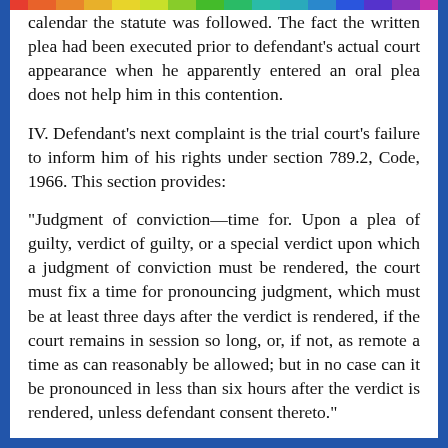calendar the statute was followed. The fact the written plea had been executed prior to defendant's actual court appearance when he apparently entered an oral plea does not help him in this contention.
IV. Defendant's next complaint is the trial court's failure to inform him of his rights under section 789.2, Code, 1966. This section provides:
"Judgment of conviction—time for. Upon a plea of guilty, verdict of guilty, or a special verdict upon which a judgment of conviction must be rendered, the court must fix a time for pronouncing judgment, which must be at least three days after the verdict is rendered, if the court remains in session so long, or, if not, as remote a time as can reasonably be allowed; but in no case can it be pronounced in less than six hours after the verdict is rendered, unless defendant consent thereto."